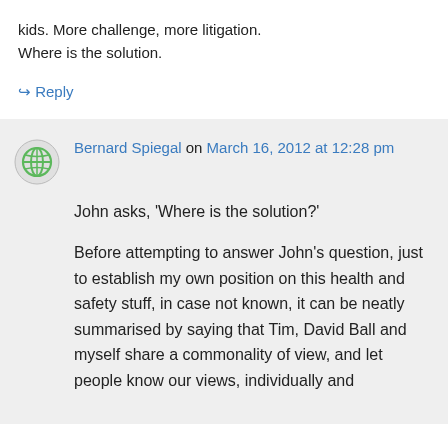kids. More challenge, more litigation. Where is the solution.
↪ Reply
Bernard Spiegal on March 16, 2012 at 12:28 pm
John asks, 'Where is the solution?'
Before attempting to answer John's question, just to establish my own position on this health and safety stuff, in case not known, it can be neatly summarised by saying that Tim, David Ball and myself share a commonality of view, and let people know our views, individually and